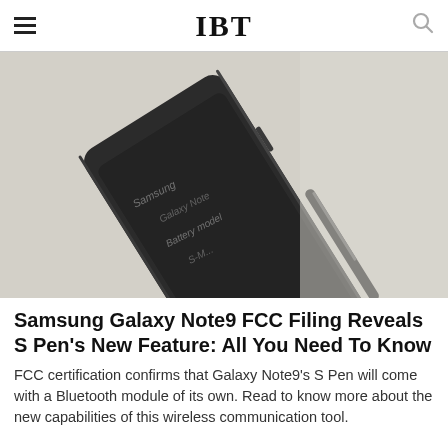IBT
[Figure (photo): A Samsung Galaxy Note9 smartphone photographed at an angle on a light surface, with a stylus (S Pen) nearby. Handwritten text is visible on the device screen.]
Samsung Galaxy Note9 FCC Filing Reveals S Pen's New Feature: All You Need To Know
FCC certification confirms that Galaxy Note9's S Pen will come with a Bluetooth module of its own. Read to know more about the new capabilities of this wireless communication tool.